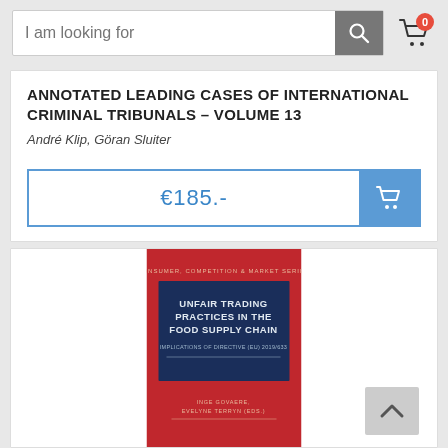I am looking for [search bar]
ANNOTATED LEADING CASES OF INTERNATIONAL CRIMINAL TRIBUNALS – VOLUME 13
André Klip, Göran Sluiter
€185.-
[Figure (photo): Book cover: Unfair Trading Practices in the Food Supply Chain – Implications of Directive (EU) 2019/633. Consumer, Competition & Market Series. Editors: Inge Govaere, Evelyne Terryn (Eds). Red cover with dark blue title panel.]